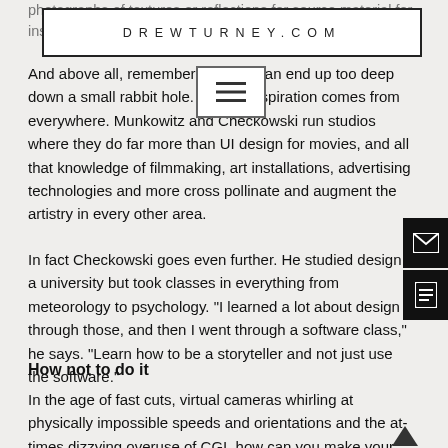DREWTURNEY.COM
photographs of textures or reflections for source material for inspiration."
And above all, remember that you can end up too deep down a small rabbit hole. Design inspiration comes from everywhere. Munkowitz and Checkowski run studios where they do far more than UI design for movies, and all that knowledge of filmmaking, art installations, advertising technologies and more cross pollinate and augment the artistry in every other area.
In fact Checkowski goes even further. He studied design at university but took classes in everything from meteorology to psychology. “I learned a lot about design through those, and then I went through a software class,” he says. “Learn how to be a storyteller and not just use the software.”
How not to do it
In the age of fast cuts, virtual cameras whirling at physically impossible speeds and orientations and the at-times dizzying overuse of CGI, how can you make your fictional UIs clear enough while making sure they’re suited to the visual style of the storytelling?